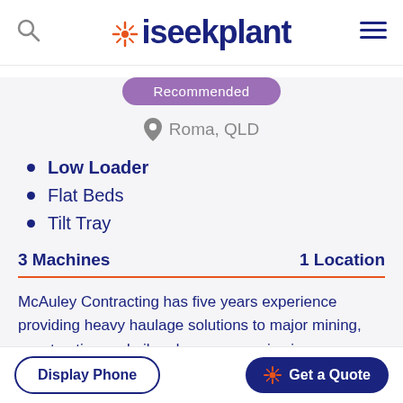iseekplant
[Figure (other): Recommended button (purple pill)]
Roma, QLD
Low Loader
Flat Beds
Tilt Tray
3 Machines    1 Location
McAuley Contracting has five years experience providing heavy haulage solutions to major mining, construction and oil and gas companies in Queensland. We service all across Queensland includ…
Display Phone    Get a Quote